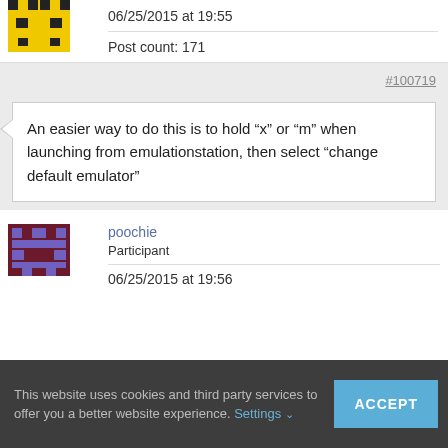[Figure (illustration): Pixel art avatar in yellow and black colors at top left]
06/25/2015 at 19:55
Post count: 171
#100719
An easier way to do this is to hold “x” or “m” when launching from emulationstation, then select “change default emulator”
[Figure (illustration): Pixel art avatar in purple and dark red colors]
poochie
Participant
06/25/2015 at 19:56
This website uses cookies and third party services to offer you a better website experience. Settings ∨